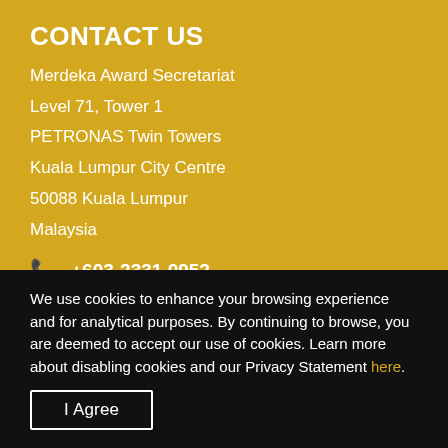CONTACT US
Merdeka Award Secretariat
Level 71, Tower 1
PETRONAS Twin Towers
Kuala Lumpur City Centre
50088 Kuala Lumpur
Malaysia
+603-2331 0952
We use cookies to enhance your browsing experience and for analytical purposes. By continuing to browse, you are deemed to accept our use of cookies. Learn more about disabling cookies and our Privacy Statement here.
I Agree